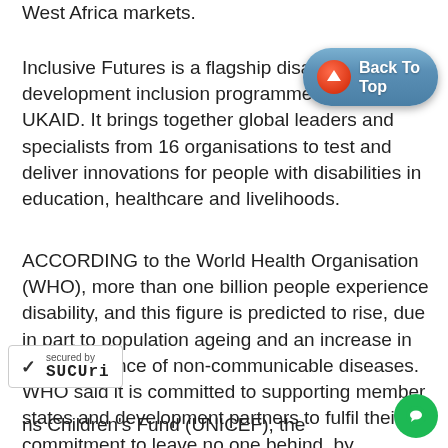West Africa markets.
Inclusive Futures is a flagship disability development inclusion programme funded by UKAID. It brings together global leaders and specialists from 16 organisations to test and deliver innovations for people with disabilities in education, healthcare and livelihoods.
ACCORDING to the World Health Organisation (WHO), more than one billion people experience disability, and this figure is predicted to rise, due in part to population ageing and an increase in the prevalence of non-communicable diseases. WHO said it is committed to supporting member states and development partners to fulfil their commitment to leave no one behind, by addressing disability inclusion in the health sector.
ns Children's Fund (UNICEF), the